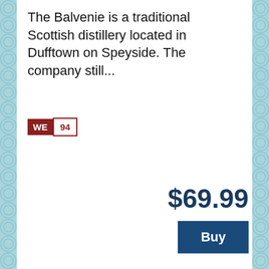The Balvenie is a traditional Scottish distillery located in Dufftown on Speyside. The company still...
WE 94
$69.99
Buy
[Figure (logo): The Balvenie distillery logo with script 'Handcrafted at' above, 'THE BALVENIE' in large serif bold caps, and 'Distillery Dufftown' in italic script below]
Balvenie Sherry Cask Single Malt Scotch Whisky 25 year old 750ml